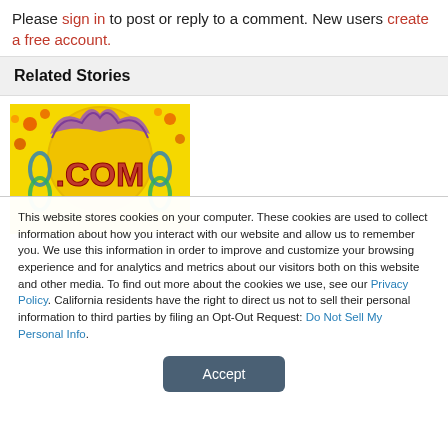Please sign in to post or reply to a comment. New users create a free account.
Related Stories
[Figure (photo): Colorful image of a yellow background with .COM text in a stylized graphic]
This website stores cookies on your computer. These cookies are used to collect information about how you interact with our website and allow us to remember you. We use this information in order to improve and customize your browsing experience and for analytics and metrics about our visitors both on this website and other media. To find out more about the cookies we use, see our Privacy Policy. California residents have the right to direct us not to sell their personal information to third parties by filing an Opt-Out Request: Do Not Sell My Personal Info.
Accept